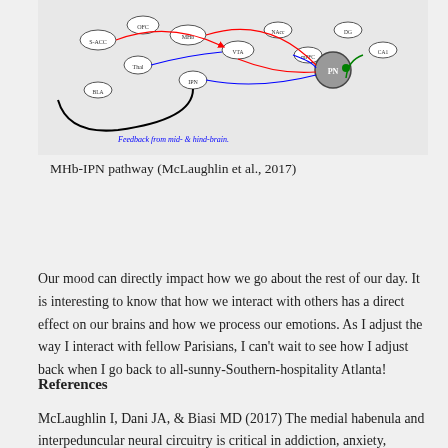[Figure (schematic): Neural circuit diagram showing MHb-IPN pathway with labeled nodes and colored arrows indicating connections. Text annotation reads 'Feedback from mid- & hind-brain.']
MHb-IPN pathway (McLaughlin et al., 2017)
Our mood can directly impact how we go about the rest of our day. It is interesting to know that how we interact with others has a direct effect on our brains and how we process our emotions. As I adjust the way I interact with fellow Parisians, I can't wait to see how I adjust back when I go back to all-sunny-Southern-hospitality Atlanta!
References
McLaughlin I, Dani JA, & Biasi MD (2017) The medial habenula and interpeduncular neural circuitry is critical in addiction, anxiety,